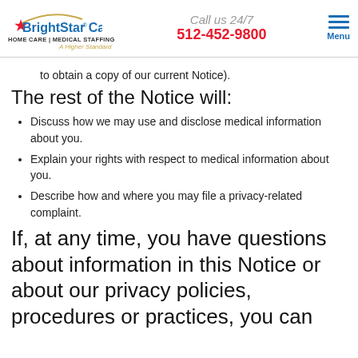BrightStar Care HOME CARE | MEDICAL STAFFING A Higher Standard | Call us 24/7 512-452-9800 | Menu
to obtain a copy of our current Notice).
The rest of the Notice will:
Discuss how we may use and disclose medical information about you.
Explain your rights with respect to medical information about you.
Describe how and where you may file a privacy-related complaint.
If, at any time, you have questions about information in this Notice or about our privacy policies, procedures or practices, you can